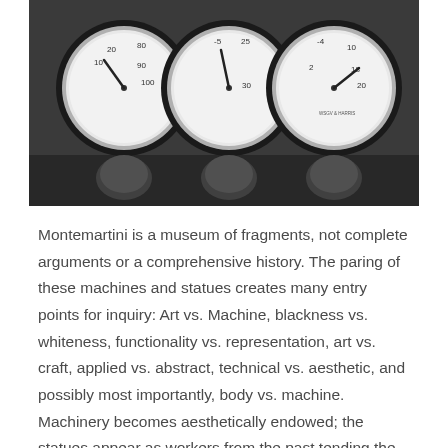[Figure (photo): Black and white photograph of three analog pressure gauges mounted on a dark panel, with rounded knobs below each gauge. The gauges show various scale markings and needle positions.]
Montemartini is a museum of fragments, not complete arguments or a comprehensive history. The paring of these machines and statues creates many entry points for inquiry: Art vs. Machine, blackness vs. whiteness, functionality vs. representation, art vs. craft, applied vs. abstract, technical vs. aesthetic, and possibly most importantly, body vs. machine. Machinery becomes aesthetically endowed; the statues appear as workers from the past tending the machines, not art. The statues are almost all damaged: torsos without arms, half a head, most with a nose or ear missing. The machines themselves are dysfunctional and only their shells remain. They are now disconnected from the grid, as mute and powerless as the damaged statues. Is this museum